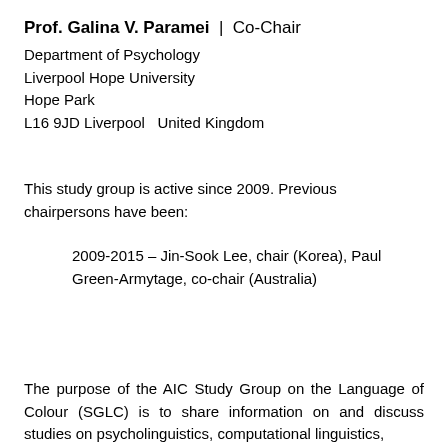Prof. Galina V. Paramei | Co-Chair
Department of Psychology
Liverpool Hope University
Hope Park
L16 9JD Liverpool  United Kingdom
This study group is active since 2009. Previous chairpersons have been:
2009-2015 – Jin-Sook Lee, chair (Korea), Paul Green-Armytage, co-chair (Australia)
The purpose of the AIC Study Group on the Language of Colour (SGLC) is to share information on and discuss studies on psycholinguistics, computational linguistics,